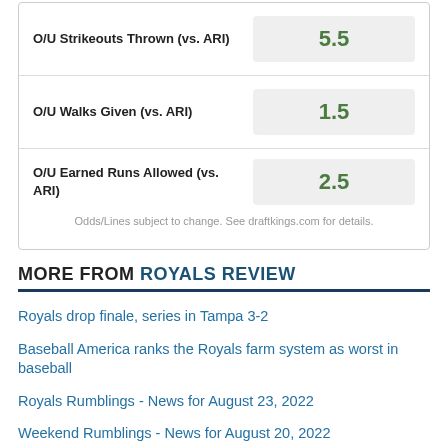| Stat | Value |
| --- | --- |
| O/U Strikeouts Thrown (vs. ARI) | 5.5 |
| O/U Walks Given (vs. ARI) | 1.5 |
| O/U Earned Runs Allowed (vs. ARI) | 2.5 |
Odds/Lines subject to change. See draftkings.com for details.
MORE FROM ROYALS REVIEW
Royals drop finale, series in Tampa 3-2
Baseball America ranks the Royals farm system as worst in baseball
Royals Rumblings - News for August 23, 2022
Weekend Rumblings - News for August 20, 2022
Sunday Thread: Royals at Rays